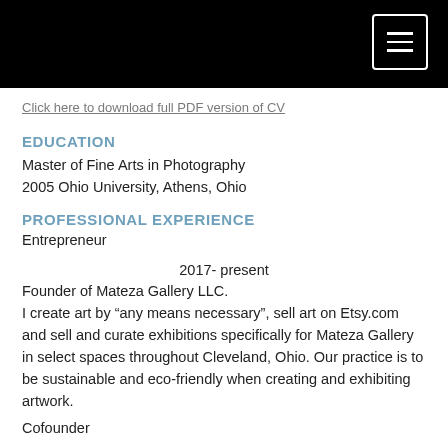[Figure (screenshot): Black header bar with hamburger menu button (three white horizontal lines) inside a white-bordered rectangle, top right corner]
Click here to download full PDF version of CV
EDUCATION
Master of Fine Arts in Photography
2005 Ohio University, Athens, Ohio
PROFESSIONAL EXPERIENCE
Entrepreneur
2017- present
Founder of Mateza Gallery LLC.
I create art by “any means necessary”, sell art on Etsy.com and sell and curate exhibitions specifically for Mateza Gallery in select spaces throughout Cleveland, Ohio. Our practice is to be sustainable and eco-friendly when creating and exhibiting artwork.
Cofounder